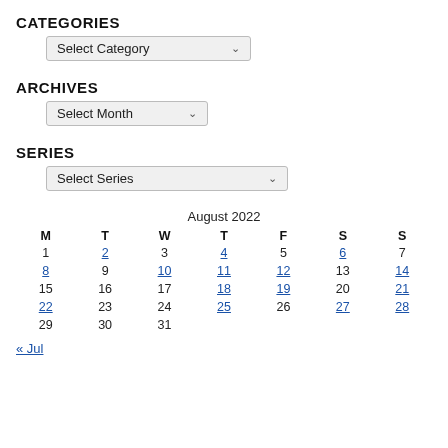CATEGORIES
Select Category
ARCHIVES
Select Month
SERIES
Select Series
| M | T | W | T | F | S | S |
| --- | --- | --- | --- | --- | --- | --- |
| 1 | 2 | 3 | 4 | 5 | 6 | 7 |
| 8 | 9 | 10 | 11 | 12 | 13 | 14 |
| 15 | 16 | 17 | 18 | 19 | 20 | 21 |
| 22 | 23 | 24 | 25 | 26 | 27 | 28 |
| 29 | 30 | 31 |  |  |  |  |
« Jul